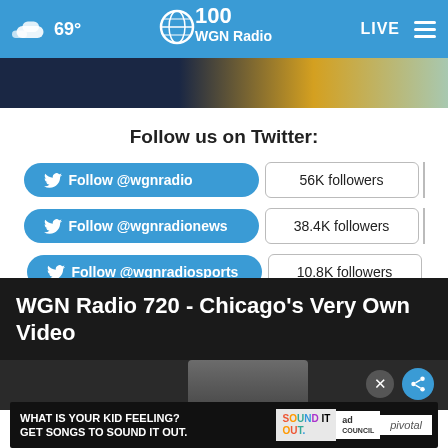69° WGN Radio 100 LIVE
[Figure (screenshot): Partial image strip showing dark blue, gold, and teal colors]
Follow us on Twitter:
Follow @wgnradio — 56K followers
Follow @wgnradionews — 38.4K followers
Follow @wgnradiosports — 10.8K followers
WGN Radio 720 - Chicago's Very Own Video
[Figure (screenshot): Video preview area with person silhouette, share and close buttons]
[Figure (screenshot): Ad banner: WHAT IS YOUR KID FEELING? GET SONGS TO SOUND IT OUT. Sound It Out / Ad Council / pivotal]